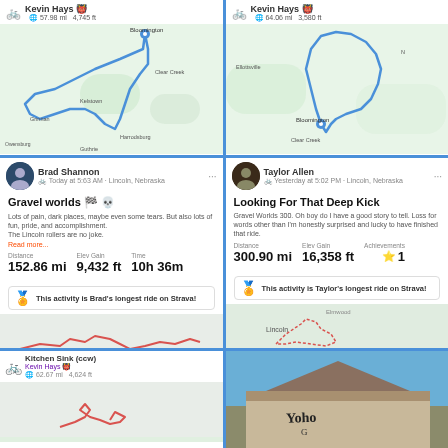[Figure (map): Cycling route map showing Kevin Hays ride, 57.98 mi, 4,745 ft, near Bloomington area with blue route line]
[Figure (map): Cycling route map showing Kevin Hays ride, 64.06 mi, 3,580 ft, near Bloomington area with blue route loop]
[Figure (screenshot): Strava activity card for Brad Shannon - Gravel worlds, 152.86 mi, 9,432 ft, 10h 36m, Brad's longest ride on Strava]
[Figure (screenshot): Strava activity card for Taylor Allen - Looking For That Deep Kick, 300.90 mi, 16,358 ft, 1 achievement, Taylor's longest ride on Strava]
[Figure (screenshot): Kitchen Sink (ccw) ride by Kevin Hays, 62.67 mi, 4,624 ft]
[Figure (photo): Photo of a building exterior with 'Yoho' sign against blue sky]